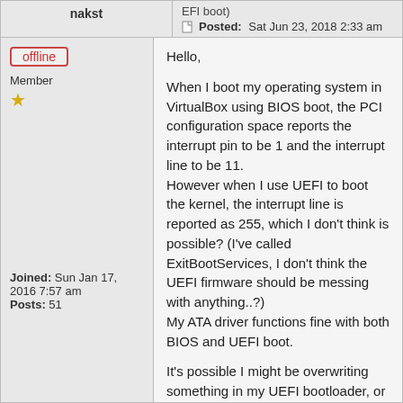nakst
EFI boot)
Posted: Sat Jun 23, 2018 2:33 am
offline
Member
Joined: Sun Jan 17, 2016 7:57 am
Posts: 51
Hello,

When I boot my operating system in VirtualBox using BIOS boot, the PCI configuration space reports the interrupt pin to be 1 and the interrupt line to be 11.
However when I use UEFI to boot the kernel, the interrupt line is reported as 255, which I don't think is possible? (I've called ExitBootServices, I don't think the UEFI firmware should be messing with anything..?)
My ATA driver functions fine with both BIOS and UEFI boot.

It's possible I might be overwriting something in my UEFI bootloader, or it's possible I'm just missing something obvious.

Does anyone know what might be happening and, if so, what I can do fix